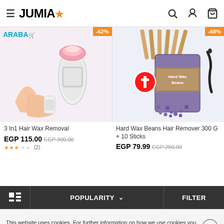JUMIA
[Figure (photo): Product image: 3 In1 Hair Wax Removal device, pink and white roller wax heater with person using it on legs, ARABA brand logo visible, -62% discount badge]
3 In1 Hair Wax Removal
EGP 115.00 EGP 300.00
[Figure (photo): Product image: Hard Wax Beans Hair Remover 300G bag with wooden sticks, purple wax beans and melted wax shown, -68% discount badge]
Hard Wax Beans Hair Remover 300 G + 10 Sticks
EGP 79.99 EGP 250.00
POPULARITY  FILTER
This website uses cookies. For further information on how we use cookies you can read our Privacy and Cookie notice